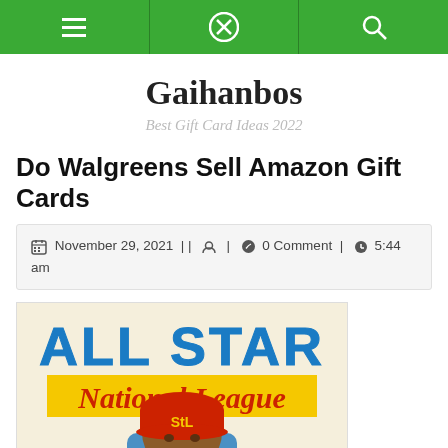Navigation bar with menu, close, and search icons
Gaihanbos
Best Gift Card Ideas 2022
Do Walgreens Sell Amazon Gift Cards
November 29, 2021 || [user icon] | [comment icon] 0 Comment | [clock icon] 5:44 am
[Figure (photo): Baseball card showing ALL STAR National League with a St. Louis Cardinals player wearing a red cap with the StL logo]